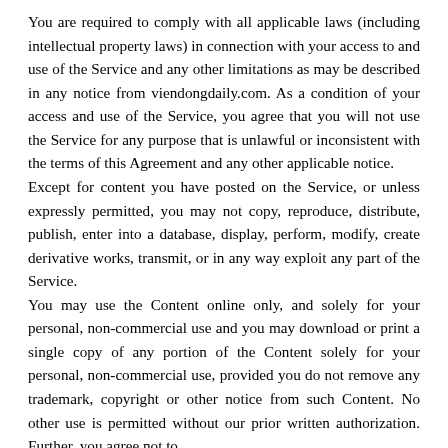You are required to comply with all applicable laws (including intellectual property laws) in connection with your access to and use of the Service and any other limitations as may be described in any notice from viendongdaily.com. As a condition of your access and use of the Service, you agree that you will not use the Service for any purpose that is unlawful or inconsistent with the terms of this Agreement and any other applicable notice.
Except for content you have posted on the Service, or unless expressly permitted, you may not copy, reproduce, distribute, publish, enter into a database, display, perform, modify, create derivative works, transmit, or in any way exploit any part of the Service.
You may use the Content online only, and solely for your personal, non-commercial use and you may download or print a single copy of any portion of the Content solely for your personal, non-commercial use, provided you do not remove any trademark, copyright or other notice from such Content. No other use is permitted without our prior written authorization. Further, you agree not to downl...